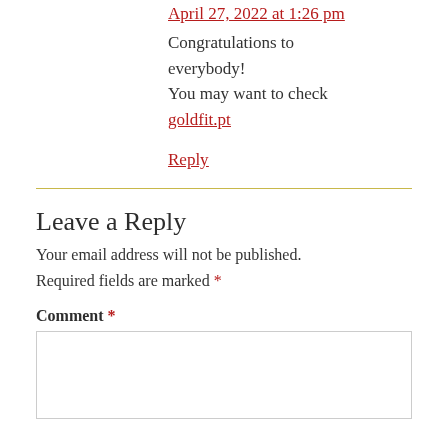April 27, 2022 at 1:26 pm
Congratulations to everybody!
You may want to check goldfit.pt
Reply
Leave a Reply
Your email address will not be published. Required fields are marked *
Comment *